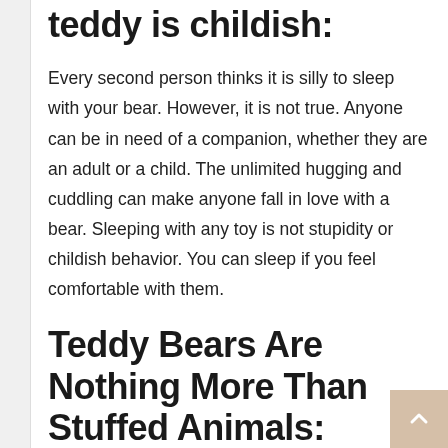teddy is childish:
Every second person thinks it is silly to sleep with your bear. However, it is not true. Anyone can be in need of a companion, whether they are an adult or a child. The unlimited hugging and cuddling can make anyone fall in love with a bear. Sleeping with any toy is not stupidity or childish behavior. You can sleep if you feel comfortable with them.
Teddy Bears Are Nothing More Than Stuffed Animals:
This is so untrue that teddy bears are just a